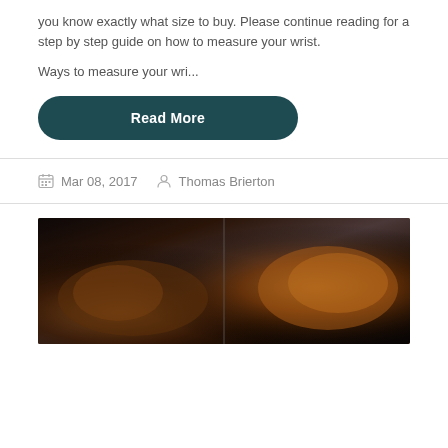you know exactly what size to buy. Please continue reading for a step by step guide on how to measure your wrist.
Ways to measure your wri...
Read More
Mar 08, 2017   Thomas Brierton
[Figure (photo): Dark photograph showing leather items, possibly bags or accessories, with warm amber/brown tones against a dark background]